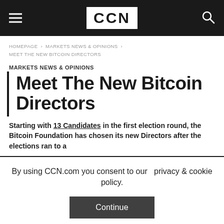CCN
HOMEPAGE > MARKETS NEWS & OPINIONS > MEET THE NEW BITCOIN DIRECTORS
MARKETS NEWS & OPINIONS
Meet The New Bitcoin Directors
Starting with 13 Candidates in the first election round, the Bitcoin Foundation has chosen its new Directors after the elections ran to a
By using CCN.com you consent to our privacy & cookie policy.
Continue